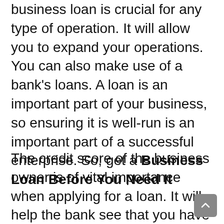business loan is crucial for any type of operation. It will allow you to expand your operations. You can also make use of a bank's loans. A loan is an important part of your business, so ensuring it is well-run is an important part of a successful enterprise. So, get a
Business Loan Before You Need It
The credit score of the business owner is of vital importance when applying for a loan. It will help the bank see that you have the ability to repay your loans, so it's important to maintain a good credit score and maintain a good business credit history. The bank may focus on your credit score more than on the companies. Thus, it is necessary to have a detailed plan before you apply for a loan.